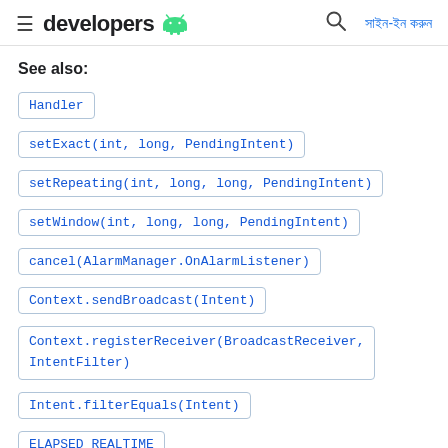developers [android icon] সাইন-ইন করুন
See also:
Handler
setExact(int, long, PendingIntent)
setRepeating(int, long, long, PendingIntent)
setWindow(int, long, long, PendingIntent)
cancel(AlarmManager.OnAlarmListener)
Context.sendBroadcast(Intent)
Context.registerReceiver(BroadcastReceiver, IntentFilter)
Intent.filterEquals(Intent)
ELAPSED_REALTIME
ELAPSED_REALTIME_WAKEUP